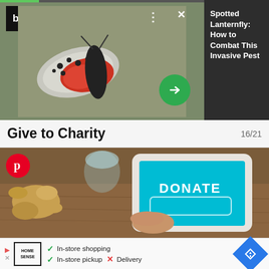[Figure (screenshot): Advertisement card showing spotted lanternfly insect photo on left with bv logo, progress bar, dots menu and X button, green arrow button, and dark sidebar with article title text]
Spotted Lanternfly: How to Combat This Invasive Pest
Give to Charity
16/21
[Figure (photo): Photo of hands donating via smartphone with DONATE button on screen, coins and glass jar in background on wooden surface, Pinterest icon overlay]
[Figure (screenshot): Home Sense store ad at bottom showing In-store shopping checkmark, In-store pickup checkmark, Delivery X, with navigation diamond icon on right]